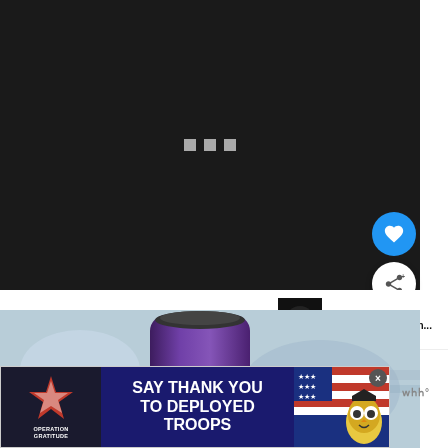[Figure (screenshot): Dark video player with loading dots (three small gray squares) centered on black background, with blue heart FAB button and white share FAB button on the right side]
[Figure (screenshot): What's Next panel showing thumbnail and text 'WHAT'S NEXT → Is Bang Energy Drin...' in top right corner]
[Figure (photo): Photo of a purple can labeled SUPER CREATINE on a blurred blue/silver background]
[Figure (screenshot): Advertisement banner: 'SAY THANK YOU TO DEPLOYED TROOPS' from Operation Gratitude with patriotic imagery and a cartoon owl mascot, with close X button]